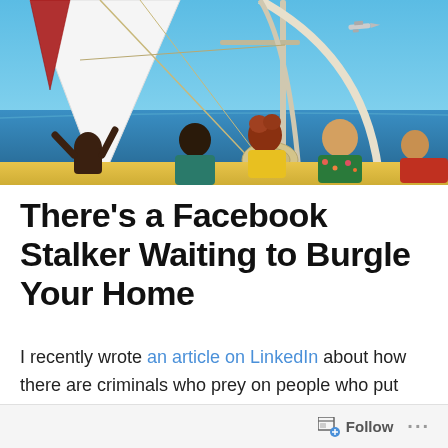[Figure (photo): People sitting on a sailboat deck viewed from behind, looking out at the ocean. A white sail is visible on the left, boat rigging and ropes in the center, an airplane visible in the blue sky in the background. People wearing colorful clothing seated along the edge of the boat.]
There’s a Facebook Stalker Waiting to Burgle Your Home
I recently wrote an article on LinkedIn about how there are criminals who prey on people who put out ‘public’ posts about cool big boys toys or other items that they own. Things like shots of the boat on a trailer, or a couple of jet-skis in the garage, or having fun out on the lake.
Follow ...